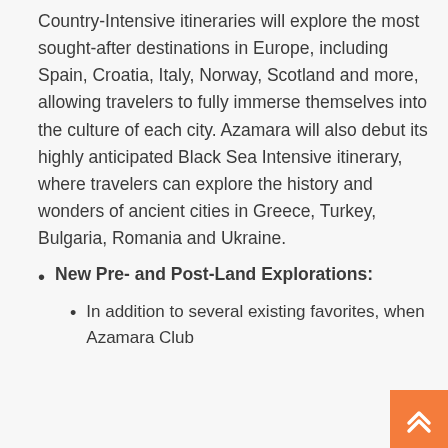Country-Intensive itineraries will explore the most sought-after destinations in Europe, including Spain, Croatia, Italy, Norway, Scotland and more, allowing travelers to fully immerse themselves into the culture of each city. Azamara will also debut its highly anticipated Black Sea Intensive itinerary, where travelers can explore the history and wonders of ancient cities in Greece, Turkey, Bulgaria, Romania and Ukraine.
New Pre- and Post-Land Explorations:
In addition to several existing favorites, when Azamara Club Cruises sails fleet voyages of